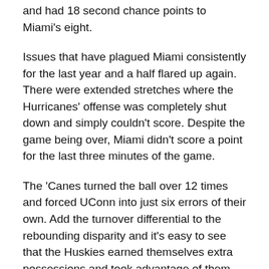and had 18 second chance points to Miami's eight.
Issues that have plagued Miami consistently for the last year and a half flared up again. There were extended stretches where the Hurricanes' offense was completely shut down and simply couldn't score. Despite the game being over, Miami didn't score a point for the last three minutes of the game.
The 'Canes turned the ball over 12 times and forced UConn into just six errors of their own. Add the turnover differential to the rebounding disparity and it's easy to see that the Huskies earned themselves extra possessions and took advantage of them.
Free throw issues also flared up again. The Hurricanes had difficulty getting to the line, had only two free throw attempts in the entire game, and made just one. The